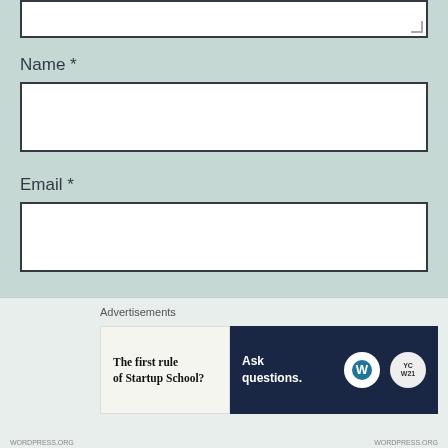[Figure (screenshot): Top portion of a text area input box (partially visible, cropped at top), with a resize handle in the bottom-right corner.]
Name *
[Figure (screenshot): Empty white input text field for Name]
Email *
[Figure (screenshot): Empty white input text field for Email]
Website
[Figure (screenshot): Partially visible empty white input text field for Website]
Advertisements
[Figure (screenshot): Advertisement banner: left side light background with bold serif text 'The first rule of Startup School?', right side dark navy background with 'Ask questions.' and WordPress and YC logos]